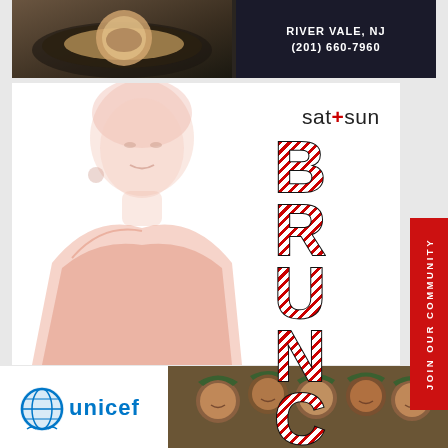[Figure (photo): Top advertisement banner with food photo on left and text 'RIVER VALE, NJ (201) 660-7960' on right, dark background]
[Figure (illustration): Faded watermark-style illustration of a glamorous woman (resembling Sophia Loren) on white background, positioned left side]
sat+sun
BRUNCH
[Figure (other): Red vertical side tab reading 'JOIN OUR COMMUNITY' in white vertical text]
[Figure (logo): UNICEF logo with globe icon, bottom advertisement banner featuring photo of smiling African children in green hats]